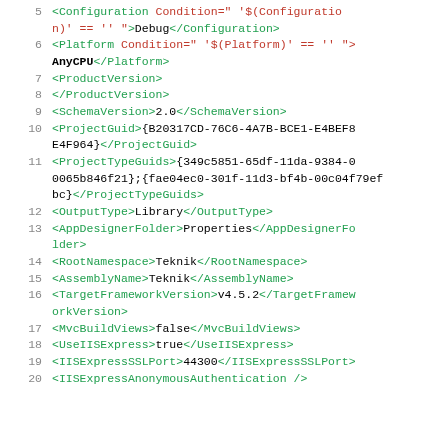[Figure (screenshot): Code snippet showing XML project file lines 5-20 with syntax highlighting: tags in green, attribute names and values in red, text content in black on white background.]